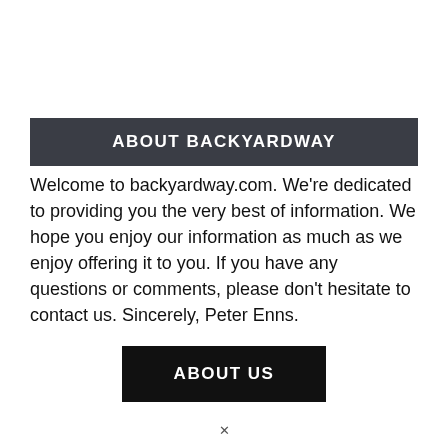ABOUT BACKYARDWAY
Welcome to backyardway.com. We're dedicated to providing you the very best of information. We hope you enjoy our information as much as we enjoy offering it to you. If you have any questions or comments, please don't hesitate to contact us. Sincerely, Peter Enns.
ABOUT US